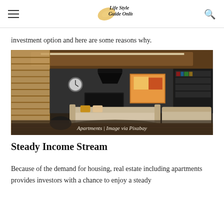Life Style Guide Online
investment option and here are some reasons why.
[Figure (photo): Interior of a luxury apartment living room with wooden blinds, artwork on walls, bookshelf, sofas, and wood flooring. Caption: Apartments | Image via Pixabay]
Apartments | Image via Pixabay
Steady Income Stream
Because of the demand for housing, real estate including apartments provides investors with a chance to enjoy a steady